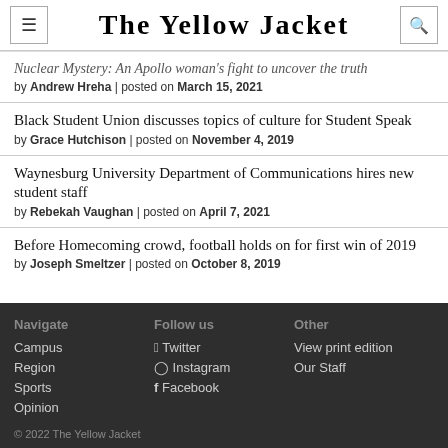The Yellow Jacket
Nuclear Mystery: An Apollo woman's fight to uncover the truth by Andrew Hreha | posted on March 15, 2021
Black Student Union discusses topics of culture for Student Speak by Grace Hutchison | posted on November 4, 2019
Waynesburg University Department of Communications hires new student staff by Rebekah Vaughan | posted on April 7, 2021
Before Homecoming crowd, football holds on for first win of 2019 by Joseph Smeltzer | posted on October 8, 2019
Navigate: Campus, Region, Sports, Opinion | Follow us: Twitter, Instagram, Facebook | Other: View print edition, Our Staff | © 2022 The Yellow Jacket